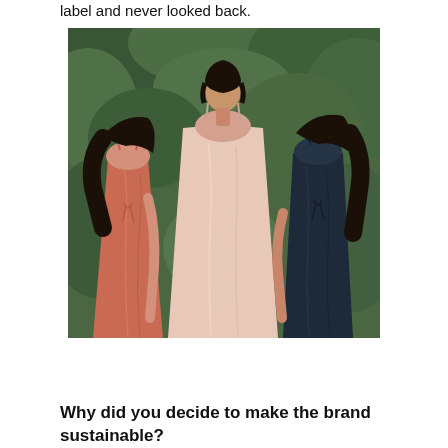label and never looked back.
[Figure (photo): Three women standing outdoors among green trees, wearing slip dresses: one in coral/salmon on the left (back turned), one in light blush/nude in the center (facing camera), and one in dark navy on the right (back turned). The dresses have spaghetti straps and open back tie details.]
Why did you decide to make the brand sustainable?